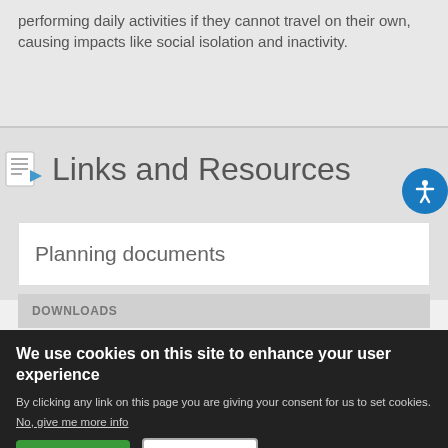performing daily activities if they cannot travel on their own, causing impacts like social isolation and inactivity.
Links and Resources
Planning documents
DOWNLOADS
We use cookies on this site to enhance your user experience
By clicking any link on this page you are giving your consent for us to set cookies. No, give me more info
OK, I agree
No, thanks